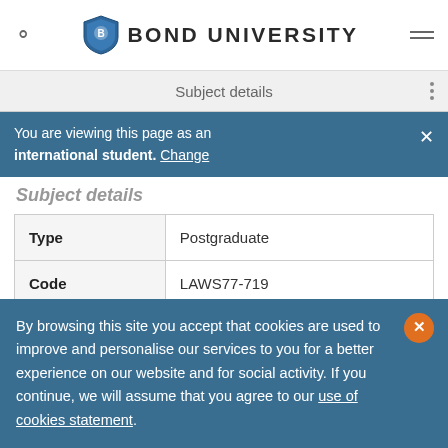BOND UNIVERSITY
Subject details
You are viewing this page as an international student. Change
Subject details
| Field | Value |
| --- | --- |
| Type | Postgraduate |
| Code | LAWS77-719 |
| EFTSL | 0.125 |
| Faculty | Faculty of Law |
By browsing this site you accept that cookies are used to improve and personalise our services to you for a better experience on our website and for social activity. If you continue, we will assume that you agree to our use of cookies statement.